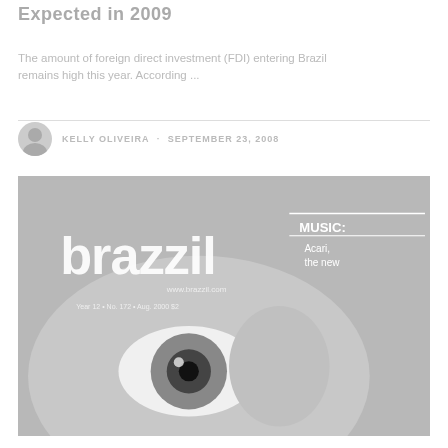Expected in 2009
The amount of foreign direct investment (FDI) entering Brazil remains high this year. According ...
KELLY OLIVEIRA · SEPTEMBER 23, 2008
[Figure (photo): Magazine cover of Brazzil magazine showing a close-up grayscale face/eye image. Text includes 'MUSIC: Acari, the new choro factory' and '500 YEARS: THEY CALL THIS A PARTY?']